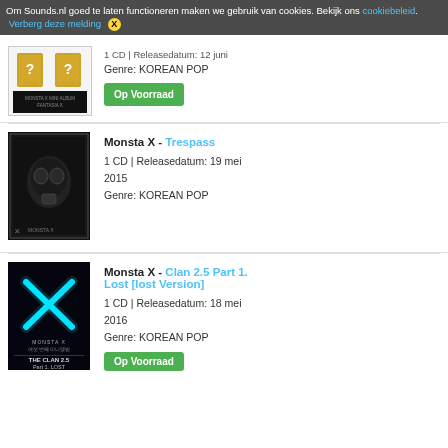Om Sounds.nl goed te laten functioneren maken we gebruik van cookies. Bekijk ons cookiebeleid. Verberg deze melding [X]
[Figure (screenshot): Album cover for Monsta X mini album Fantasia - gold cover with question marks]
1 CD | Releasedatum: 12 juni
Genre: KOREAN POP
Op Voorraad
[Figure (screenshot): Album cover for Monsta X - Trespass, dark cover with gas mask]
Monsta X - Trespass
1 CD | Releasedatum: 19 mei 2015
Genre: KOREAN POP
[Figure (screenshot): Album cover for Monsta X - The Clan 2.5 Part 1. Lost, dark cover with cyan X]
Monsta X - Clan 2.5 Part 1. Lost [lost Version]
1 CD | Releasedatum: 18 mei 2016
Genre: KOREAN POP
Op Voorraad